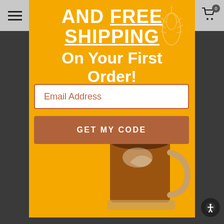Navigation bar with hamburger menu and cart icon (badge: 0)
And FREE SHIPPING On Your First Order!
[Figure (photo): Glass coffee mug with dark coffee and milk/cream swirling inside, set on a yellow surface against an orange-yellow background]
[Figure (illustration): Wheat or grain watermark/logo in top right corner of popup]
Email Address (placeholder text in input field)
GET MY CODE (button)